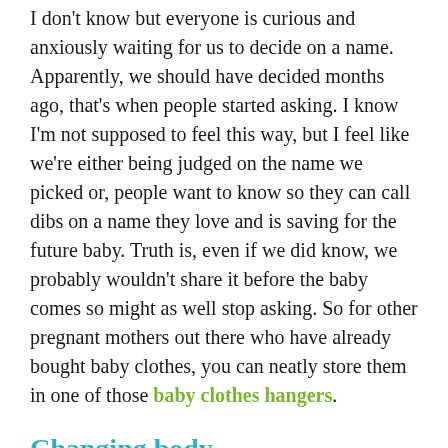I don't know but everyone is curious and anxiously waiting for us to decide on a name. Apparently, we should have decided months ago, that's when people started asking. I know I'm not supposed to feel this way, but I feel like we're either being judged on the name we picked or, people want to know so they can call dibs on a name they love and is saving for the future baby. Truth is, even if we did know, we probably wouldn't share it before the baby comes so might as well stop asking. So for other pregnant mothers out there who have already bought baby clothes, you can neatly store them in one of those baby clothes hangers.
Changing body
I'm not talking about the belly, that was the only change I was prepared for and expected. What I didn't expect was the swollen ankles and hands, the numbness in my joints, the constant pelvic hip pain